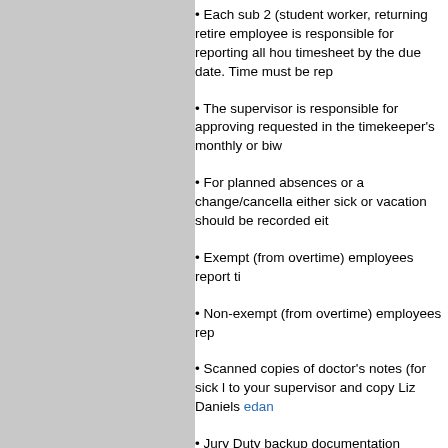• Each sub 2 (student worker, returning retire employee is responsible for reporting all hours timesheet by the due date. Time must be rep
• The supervisor is responsible for approving requested in the timekeeper's monthly or biw
• For planned absences or a change/cancella either sick or vacation should be recorded eit
• Exempt (from overtime) employees report ti
• Non-exempt (from overtime) employees rep
• Scanned copies of doctor's notes (for sick l to your supervisor and copy Liz Daniels edan
• Jury Duty backup documentation (summons supervisor and copy Liz Daniels edaniels@u
• Time-off with No-Pay must be requested no
• Vacation: Sick Time cannot be substituted f